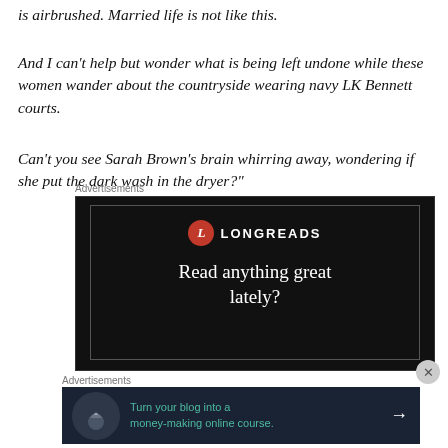is airbrushed. Married life is not like this.
And I can't help but wonder what is being left undone while these women wander about the countryside wearing navy LK Bennett courts.
Can't you see Sarah Brown's brain whirring away, wondering if she put the dark wash in the dryer?"
Advertisements
[Figure (other): Longreads advertisement banner — black background with red circle L logo, text: LONGREADS, Read anything great lately?]
Advertisements
[Figure (other): Teachable advertisement banner — dark navy background with tree icon, green text: Turn your blog into a money-making online course. with arrow]